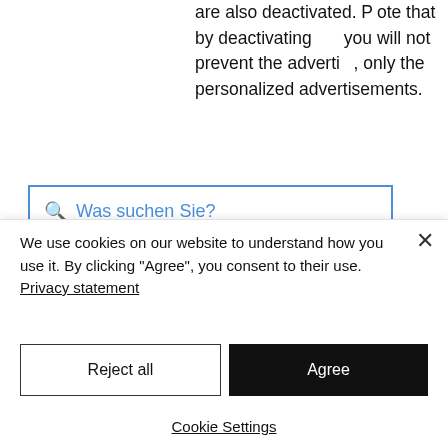are also deactivated. Please note that by deactivating these cookies you will not prevent the advertisements, only the personalized advertisements.
[Figure (screenshot): Search bar overlay with magnifying glass icon and placeholder text 'Was suchen Sie?' in blue, bordered in blue. Also visible: green shopping bag icon with '0' and red hamburger menu icon on grey background.]
agreement “Privacy Shield”, the American group Google LLC must comply with the data protection laws applicable in the EU. If you would like to find out more about data protection at Google, we recommend the general data protection
We use cookies on our website to understand how you use it. By clicking “Agree”, you consent to their use. Privacy statement
Reject all
Agree
Cookie Settings